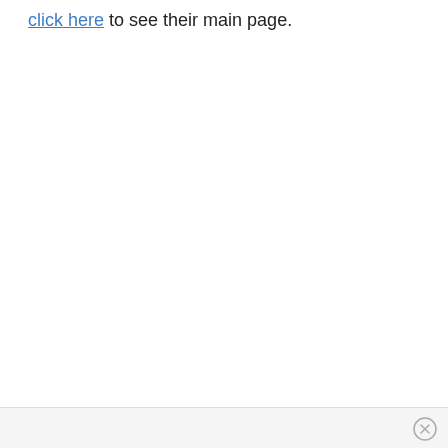click here to see their main page.